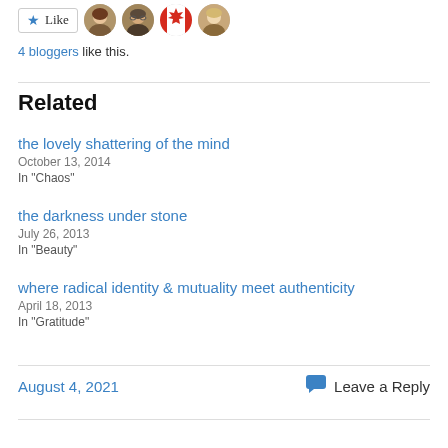[Figure (other): Like button with star icon and four blogger avatar photos]
4 bloggers like this.
Related
the lovely shattering of the mind
October 13, 2014
In "Chaos"
the darkness under stone
July 26, 2013
In "Beauty"
where radical identity & mutuality meet authenticity
April 18, 2013
In "Gratitude"
August 4, 2021
Leave a Reply